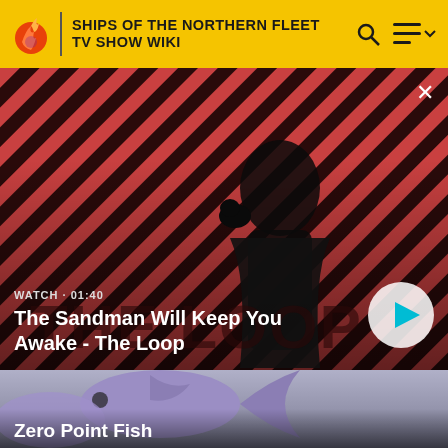SHIPS OF THE NORTHERN FLEET TV SHOW WIKI
[Figure (screenshot): Video thumbnail showing a dark-clad figure with a raven on shoulder against a red diagonal striped background. Title: 'The Sandman Will Keep You Awake - The Loop'. Duration label: WATCH · 01:40]
The Sandman Will Keep You Awake - The Loop
[Figure (screenshot): Video thumbnail showing a purple/lavender 3D rendered fish against a grey background. Partial title visible at bottom: 'Zero Point Fish']
Zero Point Fish